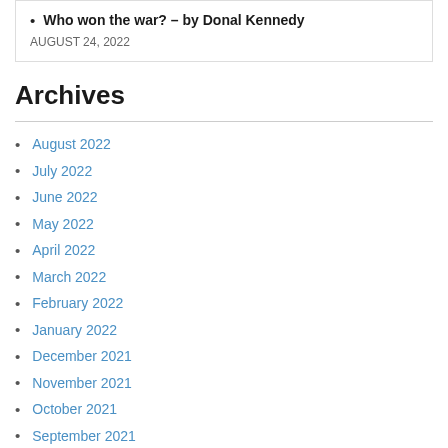Who won the war? – by Donal Kennedy
AUGUST 24, 2022
Archives
August 2022
July 2022
June 2022
May 2022
April 2022
March 2022
February 2022
January 2022
December 2021
November 2021
October 2021
September 2021
August 2021
July 2021